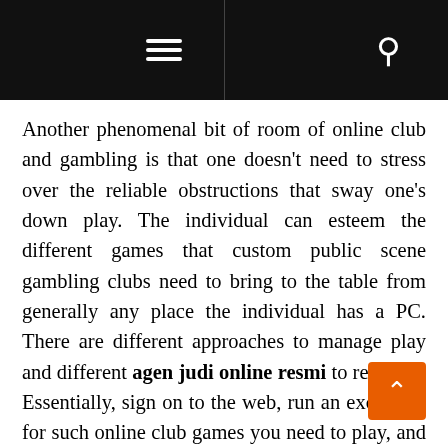≡  🔍
Another phenomenal bit of room of online club and gambling is that one doesn't need to stress over the reliable obstructions that sway one's down play. The individual can esteem the different games that custom public scene gambling clubs need to bring to the table from generally any place the individual has a PC. There are different approaches to manage play and different agen judi online resmi to research. Essentially, sign on to the web, run an excursion for such online club games you need to play, and inside seconds you will be going. There are the absolute of your primary games to examine, for example, craps, roulette, video bla..., and some more. All of the one necessities to do is